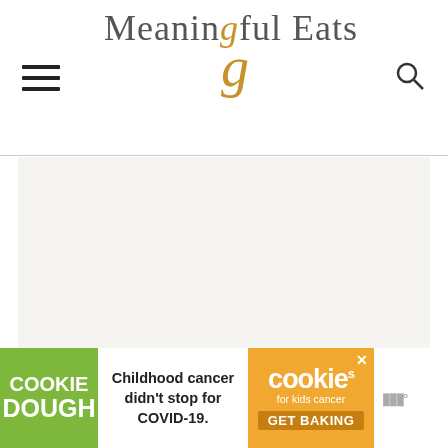Meaningful Eats
[Figure (photo): Large main content image area (light gray/off-white blank image placeholder)]
[Figure (infographic): Cookie Dough advertisement banner: Left green panel with 'COOKIE DOUGH' text, center with 'Childhood cancer didn't stop for COVID-19.' text, right orange panel with 'cookies for kids cancer GET BAKING' text, with close X button]